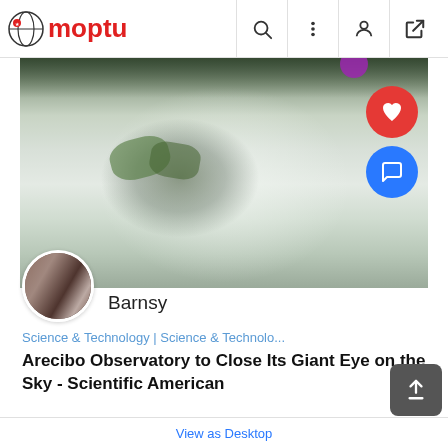Moptu
[Figure (screenshot): Moptu mobile app screenshot showing a post with a snow/cat background image, heart and comment action buttons, user avatar, article title and snippet]
Barnsy
Science & Technology | Science & Technolo...
Arecibo Observatory to Close Its Giant Eye on the Sky - Scientific American
Scientific American is the essential guide to the most awe-inspiring advances in science and
View Comments
Arecibo   Astronomy   News   ...
View as Desktop